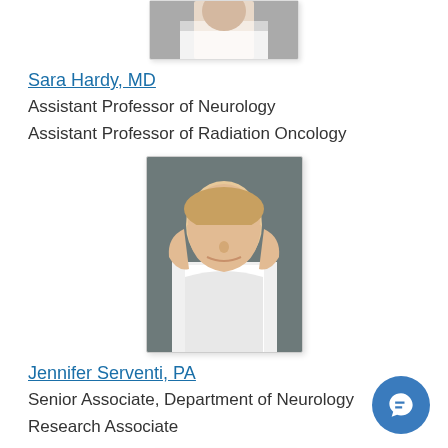[Figure (photo): Partial photo of Sara Hardy, MD — only lower portion visible at top of page]
Sara Hardy, MD
Assistant Professor of Neurology
Assistant Professor of Radiation Oncology
[Figure (photo): Professional headshot of Jennifer Serventi, PA — blonde woman in white coat, smiling]
Jennifer Serventi, PA
Senior Associate, Department of Neurology
Research Associate
[Figure (photo): Partial photo at bottom of page — third person, partially visible]